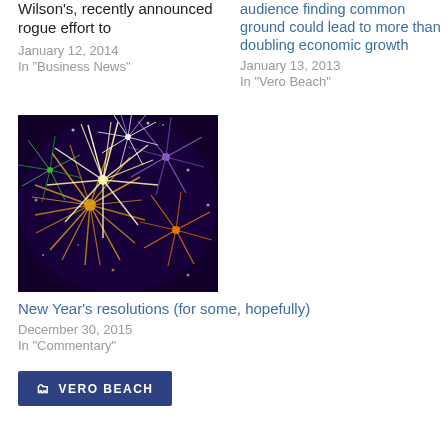Wilson's, recently announced rogue effort to
January 12, 2014
In "Business News"
audience finding common ground could lead to more than doubling economic growth
January 13, 2013
In "Vero Beach"
[Figure (photo): Fireworks display with colorful bursts against dark night sky]
New Year's resolutions (for some, hopefully)
December 30, 2015
In "Commentary"
VERO BEACH